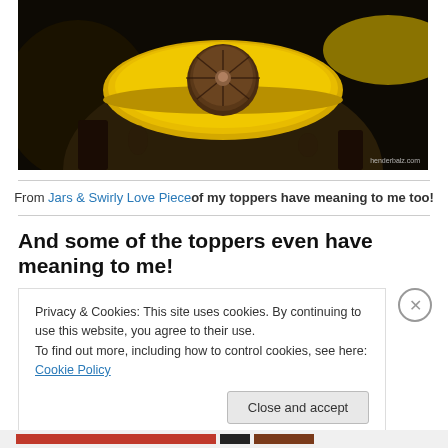[Figure (photo): Close-up photo of decorative jar lids with yellow/gold circular lids featuring an ornamental dark bronze/brown knob topper in the center, against a dark background. Watermark reads 'henderbalz.com']
From Jars & Swirly Love Piece of my toppers have meaning to me too!
And some of the toppers even have meaning to me!
Privacy & Cookies: This site uses cookies. By continuing to use this website, you agree to their use.
To find out more, including how to control cookies, see here: Cookie Policy
Close and accept